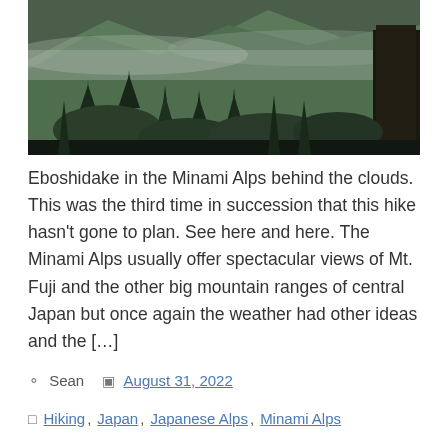[Figure (photo): A forest scene with tall dark conifers in the foreground and green mountain slopes partially obscured by clouds or mist in the background. The light is dim and moody.]
Eboshidake in the Minami Alps behind the clouds. This was the third time in succession that this hike hasn't gone to plan. See here and here. The Minami Alps usually offer spectacular views of Mt. Fuji and the other big mountain ranges of central Japan but once again the weather had other ideas and the […]
Sean  August 31, 2022
Hiking, Japan, Japanese Alps, Minami Alps